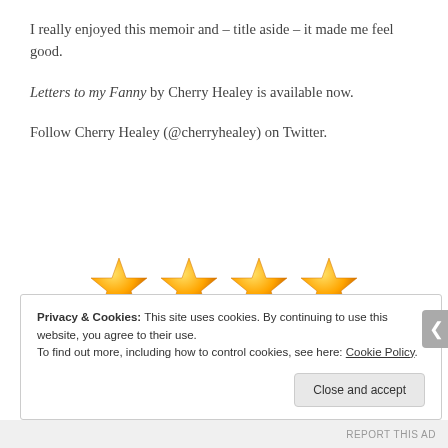I really enjoyed this memoir and – title aside – it made me feel good.
Letters to my Fanny by Cherry Healey is available now.
Follow Cherry Healey (@cherryhealey) on Twitter.
[Figure (other): Four gold/orange stars representing a 4-star rating]
Privacy & Cookies: This site uses cookies. By continuing to use this website, you agree to their use. To find out more, including how to control cookies, see here: Cookie Policy
REPORT THIS AD